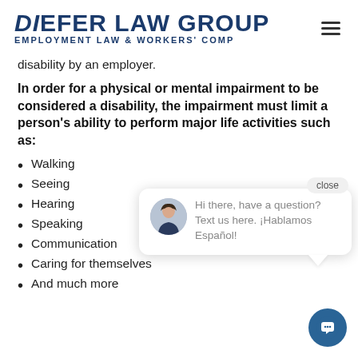DiEFER LAW GROUP – EMPLOYMENT LAW & WORKERS' COMP
disability by an employer.
In order for a physical or mental impairment to be considered a disability, the impairment must limit a person's ability to perform major life activities such as:
Walking
Seeing
Hearing
Speaking
Communication
Caring for themselves
And much more
[Figure (screenshot): Chat popup overlay with avatar and text: Hi there, have a question? Text us here. ¡Hablamos Español!]